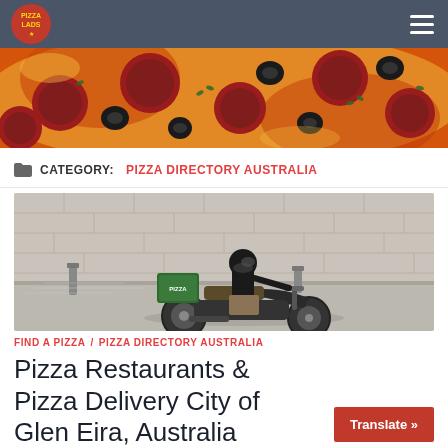[Figure (photo): Website navigation bar with a red Pizza Lads logo on the left and hamburger menu icon on the right, dark slate blue background]
[Figure (photo): Close-up banner image of a pepperoni and black olive pizza with melted cheese and green herb garnish]
CATEGORY: PIZZA DIRECTORY AUSTRALIA
[Figure (photo): A delivery person on a scooter/moped wearing a black helmet and dark clothing, carrying a green insulated delivery box, riding along a stone wall street]
FIND A PIZZA / PIZZA DIRECTORY AUSTRALIA
Pizza Restaurants & Pizza Delivery City of Glen Eira, Australia
Translate »